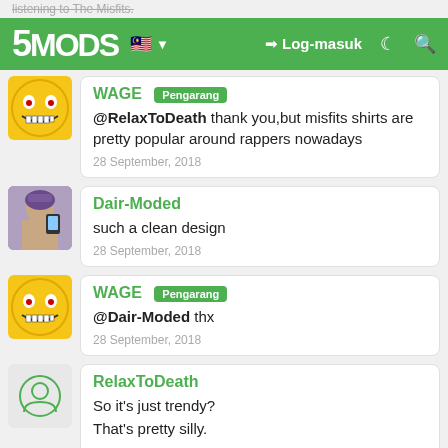5MODS | Log-masuk
WAGE Pengarang
@RelaxToDeath thank you,but misfits shirts are pretty popular around rappers nowadays
28 September, 2018
Dair-Moded
such a clean design
28 September, 2018
WAGE Pengarang
@Dair-Moded thx
28 September, 2018
RelaxToDeath
So it's just trendy?
That's pretty silly.
28 September, 2018